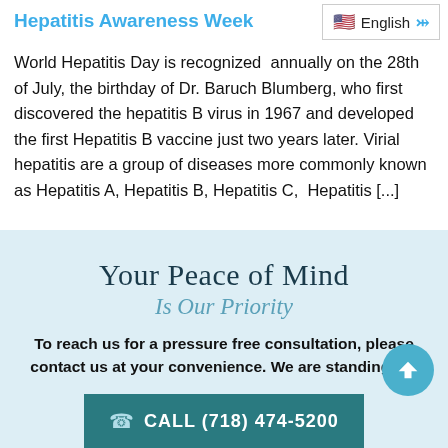Hepatitis Awareness Week
[Figure (screenshot): Language selector widget showing US flag and English with dropdown chevron]
World Hepatitis Day is recognized  annually on the 28th of July, the birthday of Dr. Baruch Blumberg, who first discovered the hepatitis B virus in 1967 and developed the first Hepatitis B vaccine just two years later. Virial hepatitis are a group of diseases more commonly known as Hepatitis A, Hepatitis B, Hepatitis C,  Hepatitis [...]
Your Peace of Mind
Is Our Priority
To reach us for a pressure free consultation, please contact us at your convenience. We are standing by!
CALL (718) 474-5200